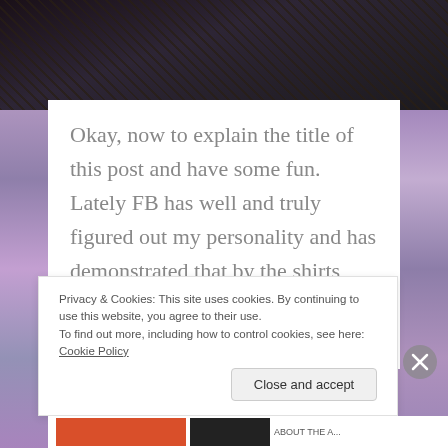[Figure (photo): Dark image at top of page, appears to be a dimly lit scene with dark tones]
Okay, now to explain the title of this post and have some fun. Lately FB has well and truly figured out my personality and has demonstrated that by the shirts that it is suggesting that I buy. (And to be
Privacy & Cookies: This site uses cookies. By continuing to use this website, you agree to their use.
To find out more, including how to control cookies, see here: Cookie Policy
Close and accept